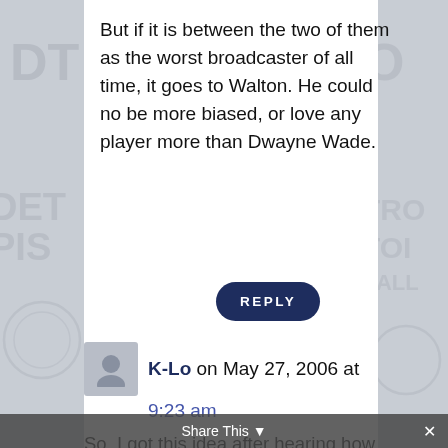But if it is between the two of them as the worst broadcaster of all time, it goes to Walton. He could no be more biased, or love any player more than Dwayne Wade.
REPLY
K-Lo on May 27, 2006 at 9:23 am
So, I got this idea after hearing how much Bill Walton loves Dwayne Wade during a game agains the Pistons a
Share This ×